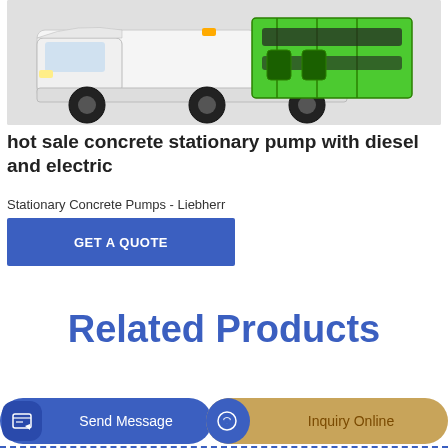[Figure (photo): A white truck with a green hydraulic/pump attachment on the back, shown on a light gray background.]
hot sale concrete stationary pump with diesel and electric
Stationary Concrete Pumps - Liebherr
GET A QUOTE
Related Products
Send Message
Ca
Inquiry Online